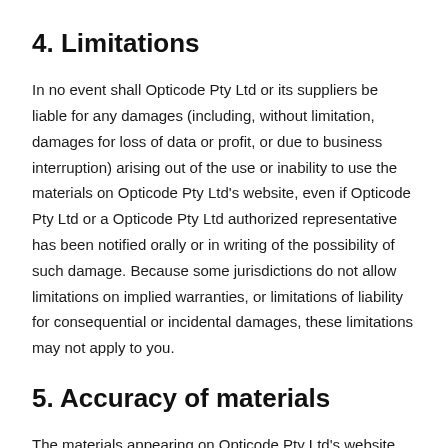4. Limitations
In no event shall Opticode Pty Ltd or its suppliers be liable for any damages (including, without limitation, damages for loss of data or profit, or due to business interruption) arising out of the use or inability to use the materials on Opticode Pty Ltd's website, even if Opticode Pty Ltd or a Opticode Pty Ltd authorized representative has been notified orally or in writing of the possibility of such damage. Because some jurisdictions do not allow limitations on implied warranties, or limitations of liability for consequential or incidental damages, these limitations may not apply to you.
5. Accuracy of materials
The materials appearing on Opticode Pty Ltd's website could include technical, typographical, or photographic errors. Opticode Pty Ltd does not warrant that any of the materials on its website are accurate, complete or current. Opticode Pty Ltd may make changes